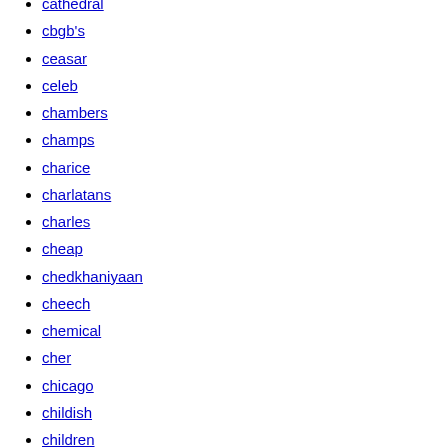cathedral
cbgb's
ceasar
celeb
chambers
champs
charice
charlatans
charles
cheap
chedkhaniyaan
cheech
chemical
cher
chicago
childish
children
chili
chilli
chocolate
chris
christina
chuck
cibo
city
clap
clarke
clash
claypool